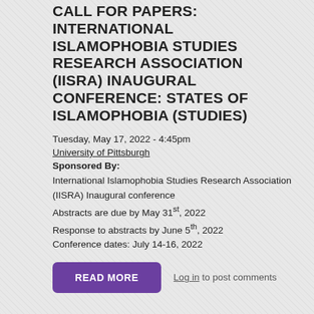CALL FOR PAPERS: INTERNATIONAL ISLAMOPHOBIA STUDIES RESEARCH ASSOCIATION (IISRA) INAUGURAL CONFERENCE: STATES OF ISLAMOPHOBIA (STUDIES)
Tuesday, May 17, 2022 - 4:45pm
University of Pittsburgh
Sponsored By:
International Islamophobia Studies Research Association (IISRA) Inaugural conference
Abstracts are due by May 31st, 2022
Response to abstracts by June 5th, 2022
Conference dates: July 14-16, 2022
READ MORE
Log in to post comments